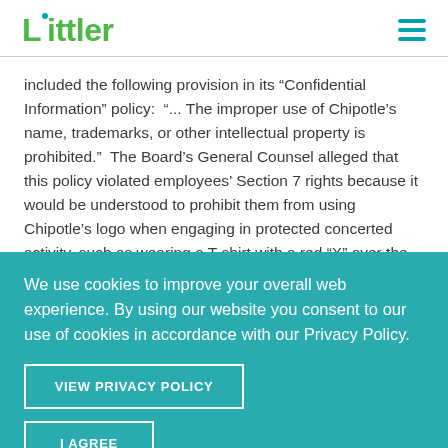Littler
included the following provision in its “Confidential Information” policy: “... The improper use of Chipotle’s name, trademarks, or other intellectual property is prohibited.” The Board’s General Counsel alleged that this policy violated employees’ Section 7 rights because it would be understood to prohibit them from using Chipotle’s logo when engaging in protected concerted activity, such as wearing a T-shirt with a red “X” over the logo
We use cookies to improve your overall web experience. By using our website you consent to our use of cookies in accordance with our Privacy Policy.
VIEW PRIVACY POLICY
I AGREE